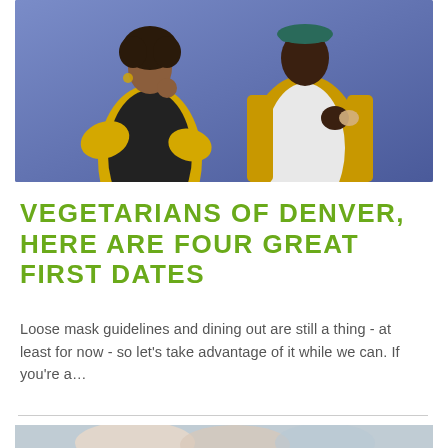[Figure (photo): Two people wearing yellow jackets eating food against a purple/blue wall background]
VEGETARIANS OF DENVER, HERE ARE FOUR GREAT FIRST DATES
Loose mask guidelines and dining out are still a thing - at least for now - so let’s take advantage of it while we can. If you’re a…
[Figure (photo): Partial photo visible at bottom of page, appears to show people]